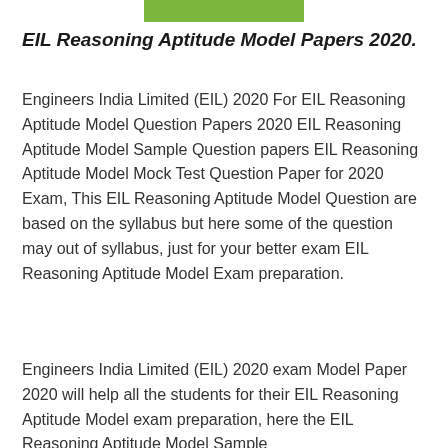[Figure (other): Green horizontal bar/banner at the top center of the page]
EIL Reasoning Aptitude Model Papers 2020.
Engineers India Limited (EIL) 2020 For EIL Reasoning Aptitude Model Question Papers 2020 EIL Reasoning Aptitude Model Sample Question papers EIL Reasoning Aptitude Model Mock Test Question Paper for 2020 Exam, This EIL Reasoning Aptitude Model Question are based on the syllabus but here some of the question may out of syllabus, just for your better exam EIL Reasoning Aptitude Model Exam preparation.
Engineers India Limited (EIL) 2020 exam Model Paper 2020 will help all the students for their EIL Reasoning Aptitude Model exam preparation, here the EIL Reasoning Aptitude Model Sample